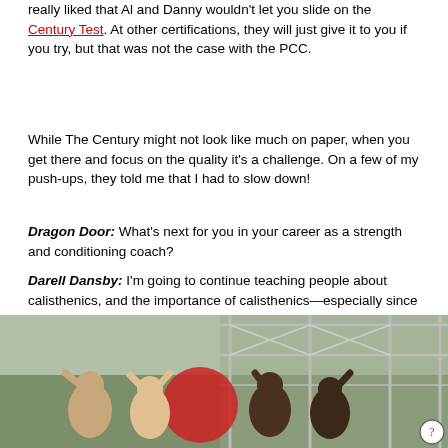really liked that Al and Danny wouldn't let you slide on the Century Test. At other certifications, they will just give it to you if you try, but that was not the case with the PCC.
While The Century might not look like much on paper, when you get there and focus on the quality it's a challenge. On a few of my push-ups, they told me that I had to slow down!
Dragon Door: What's next for you in your career as a strength and conditioning coach?
Darell Dansby: I'm going to continue teaching people about calisthenics, and the importance of calisthenics—especially since it transfers over well to what I'm doing with obstacle course racers. I specialize in preparing people for obstacle course racing and calisthenics is right up there with it.
[Figure (photo): Group photo of people posing under a metal scaffold/obstacle course structure outdoors. Multiple people are visible, some flexing or celebrating.]